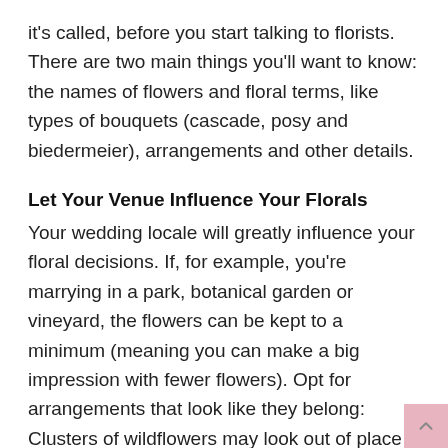it's called, before you start talking to florists. There are two main things you'll want to know: the names of flowers and floral terms, like types of bouquets (cascade, posy and biedermeier), arrangements and other details.
Let Your Venue Influence Your Florals
Your wedding locale will greatly influence your floral decisions. If, for example, you're marrying in a park, botanical garden or vineyard, the flowers can be kept to a minimum (meaning you can make a big impression with fewer flowers). Opt for arrangements that look like they belong: Clusters of wildflowers may look out of place in a formal ballroom the same way a glam grouping of all-white orchids wouldn't seem right in a rustic setting. Keep in mind your table configuration too (round tables versus long farm tables), which can help influence the shape and style of your centerpieces.